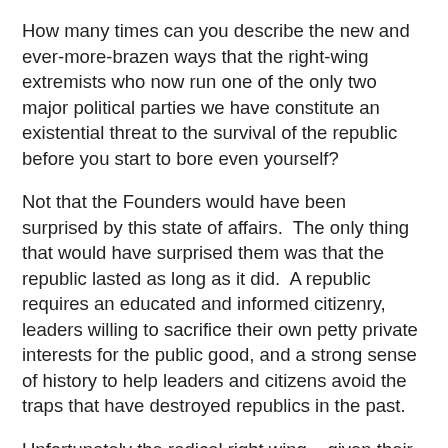How many times can you describe the new and ever-more-brazen ways that the right-wing extremists who now run one of the only two major political parties we have constitute an existential threat to the survival of the republic before you start to bore even yourself?
Not that the Founders would have been surprised by this state of affairs.  The only thing that would have surprised them was that the republic lasted as long as it did.  A republic requires an educated and informed citizenry, leaders willing to sacrifice their own petty private interests for the public good, and a strong sense of history to help leaders and citizens avoid the traps that have destroyed republics in the past.
Unfortunately the radical right wing – given their eagerness to destroy institutions that have stood the test of time you can hardly call them “conservative,” after all – is deliberately dismantling our public education system and substituting in its place theological indoctrination.  They fetishize private interest to a degree that even Cornelius Vanderbilt would have found unseemly.  And their view of history is distorted